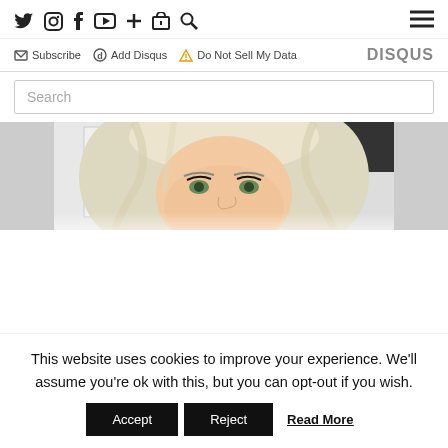Social icons: Twitter, Instagram, Facebook, YouTube, Plus, LinkedIn, Search | Hamburger menu
Subscribe  Add Disqus  Do Not Sell My Data  DISQUS
Search
[Figure (photo): Close-up photo of a blonde woman with wavy hair and green eyes looking at camera]
This website uses cookies to improve your experience. We'll assume you're ok with this, but you can opt-out if you wish.
Accept  Reject  Read More